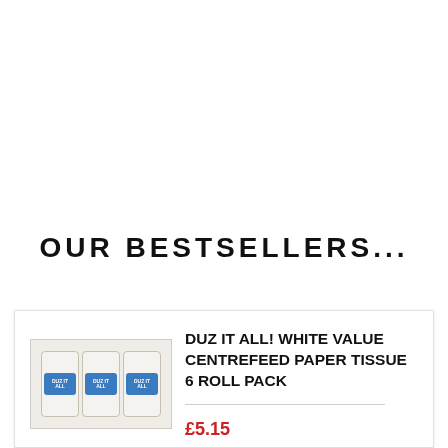OUR BESTSELLERS...
[Figure (photo): Product image of Duz It All! White Value Centrefeed Paper Tissue 6 Roll Pack — a pack of white centrefeed paper tissue rolls with a blue label]
DUZ IT ALL! WHITE VALUE CENTREFEED PAPER TISSUE 6 ROLL PACK
£5.15